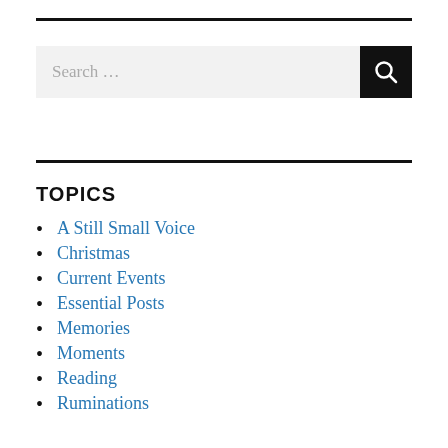[Figure (other): Search bar with text input field showing 'Search ...' placeholder and a black search button with magnifying glass icon]
TOPICS
A Still Small Voice
Christmas
Current Events
Essential Posts
Memories
Moments
Reading
Ruminations